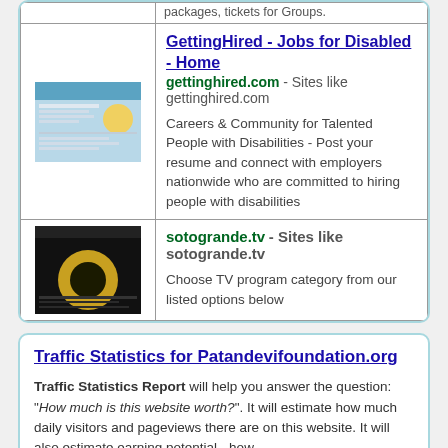| [thumbnail] | GettingHired - Jobs for Disabled - Home
gettinghired.com - Sites like gettinghired.com

Careers & Community for Talented People with Disabilities - Post your resume and connect with employers nationwide who are committed to hiring people with disabilities |
| [thumbnail] | sotogrande.tv - Sites like sotogrande.tv

Choose TV program category from our listed options below |
Traffic Statistics for Patandevifoundation.org
Traffic Statistics Report will help you answer the question: "How much is this website worth?". It will estimate how much daily visitors and pageviews there are on this website. It will also estimate earning potential - how...